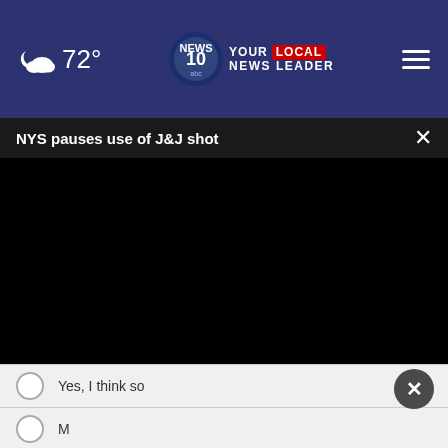72° | NEWS 10 YOUR LOCAL NEWS LEADER
NYS pauses use of J&J shot
[Figure (screenshot): Black video player area]
Yes, I think so
M...
N...
[Figure (infographic): Advertisement: Save Big on Goodyear Tires - Virginia Tire & Auto of Ashburn]